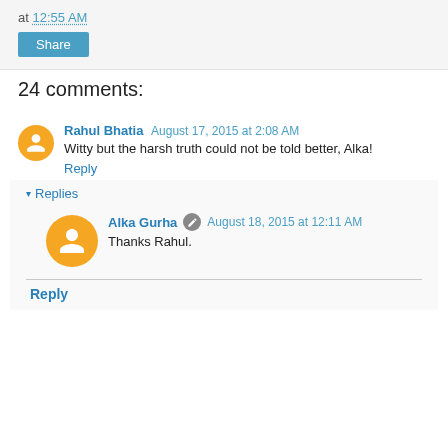at 12:55 AM
[Figure (screenshot): Share button]
24 comments:
Rahul Bhatia  August 17, 2015 at 2:08 AM
Witty but the harsh truth could not be told better, Alka!
Reply
▾ Replies
Alka Gurha  August 18, 2015 at 12:11 AM
Thanks Rahul.
Reply